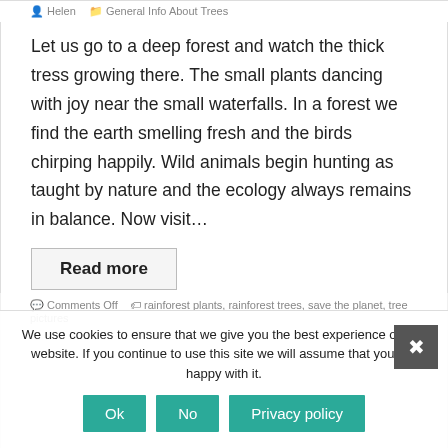Helen  General Info About Trees
Let us go to a deep forest and watch the thick tress growing there. The small plants dancing with joy near the small waterfalls. In a forest we find the earth smelling fresh and the birds chirping happily. Wild animals begin hunting as taught by nature and the ecology always remains in balance. Now visit…
Read more
Comments Off  rainforest plants, rainforest trees, save the planet, tree pictures
We use cookies to ensure that we give you the best experience on our website. If you continue to use this site we will assume that you are happy with it.